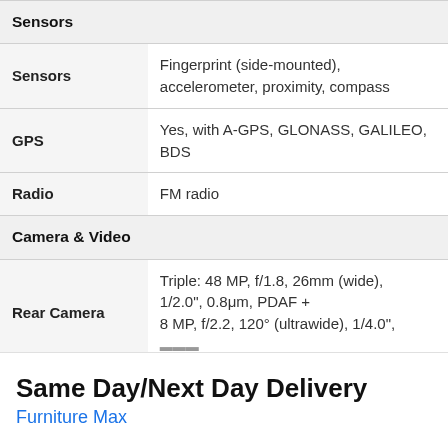| Sensors |  |
| Sensors | Fingerprint (side-mounted), accelerometer, proximity, compass |
| GPS | Yes, with A-GPS, GLONASS, GALILEO, BDS |
| Radio | FM radio |
| Camera & Video |  |
| Rear Camera | Triple: 48 MP, f/1.8, 26mm (wide), 1/2.0", 0.8μm, PDAF + 8 MP, f/2.2, 120° (ultrawide), 1/4.0", |
Same Day/Next Day Delivery
Furniture Max